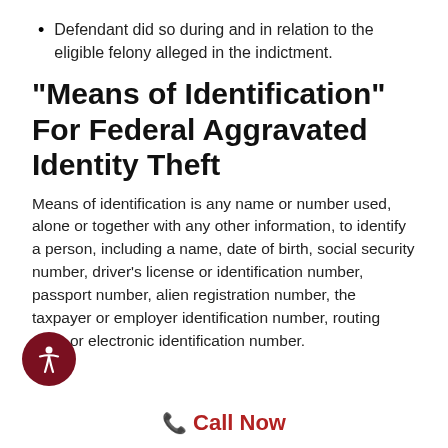Defendant did so during and in relation to the eligible felony alleged in the indictment.
“Means of Identification” For Federal Aggravated Identity Theft
Means of identification is any name or number used, alone or together with any other information, to identify a person, including a name, date of birth, social security number, driver’s license or identification number, passport number, alien registration number, the taxpayer or employer identification number, routing code or electronic identification number.